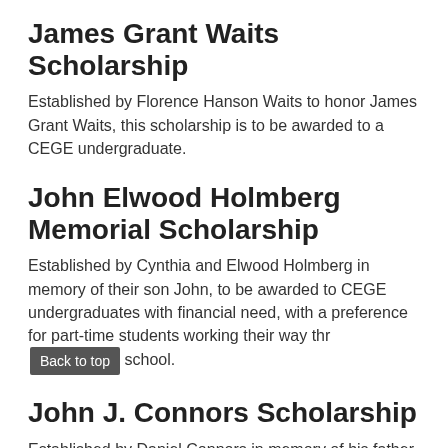James Grant Waits Scholarship
Established by Florence Hanson Waits to honor James Grant Waits, this scholarship is to be awarded to a CEGE undergraduate.
John Elwood Holmberg Memorial Scholarship
Established by Cynthia and Elwood Holmberg in memory of their son John, to be awarded to CEGE undergraduates with financial need, with a preference for part-time students working their way thr [Back to top] school.
John J. Connors Scholarship
Established by Daniel Connors in memory of his father John Connors, to be awarded to CEGE undergraduates...